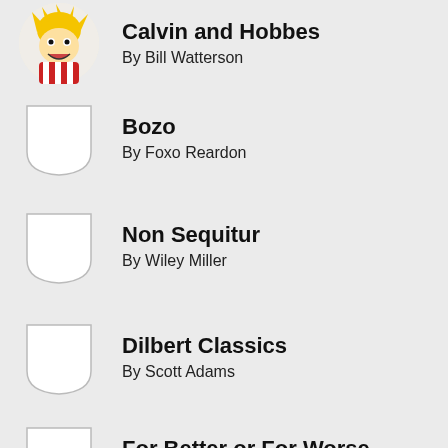Calvin and Hobbes
By Bill Watterson
Bozo
By Foxo Reardon
Non Sequitur
By Wiley Miller
Dilbert Classics
By Scott Adams
For Better or For Worse
By Lynn Johnston